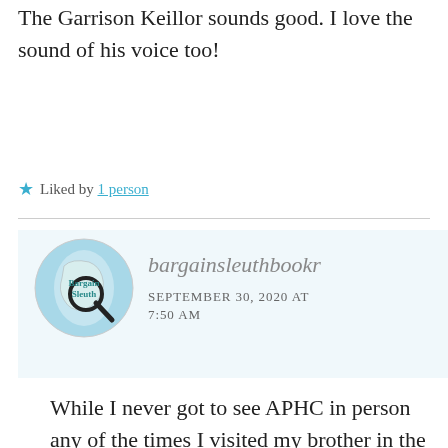The Garrison Keillor sounds good. I love the sound of his voice too!
★ Liked by 1 person
[Figure (logo): Bargain Sleuth circular logo with globe/Wisconsin state map background and magnifying glass]
bargainsleuthbookr
SEPTEMBER 30, 2020 AT 7:50 AM
While I never got to see APHC in person any of the times I visited my brother in the Twin Cities, I did see Garrison Keillor twice here in town for charity events and it was so cool seeing the man I'd been listening to since